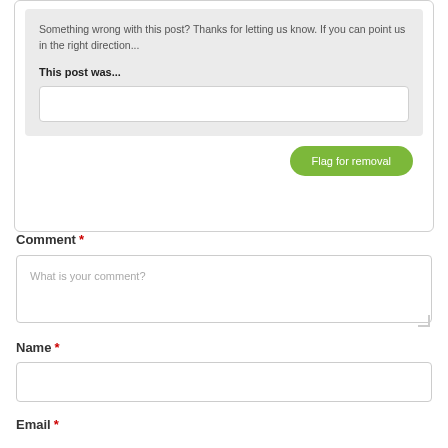Something wrong with this post? Thanks for letting us know. If you can point us in the right direction...
This post was...
Flag for removal
Comment *
What is your comment?
Name *
Email *